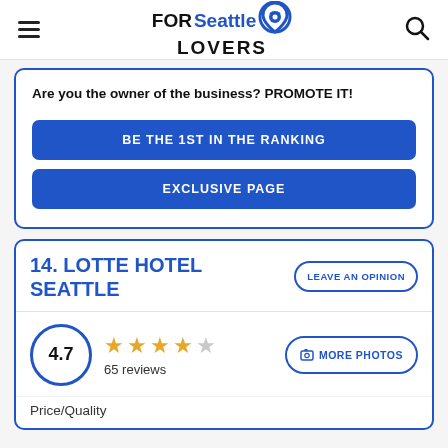FOR Seattle LOVERS
Are you the owner of the business? PROMOTE IT!
BE THE 1ST IN THE RANKING
EXCLUSIVE PAGE
14. LOTTE HOTEL SEATTLE
LEAVE AN OPINION
4.7 — 65 reviews
MORE PHOTOS
Price/Quality